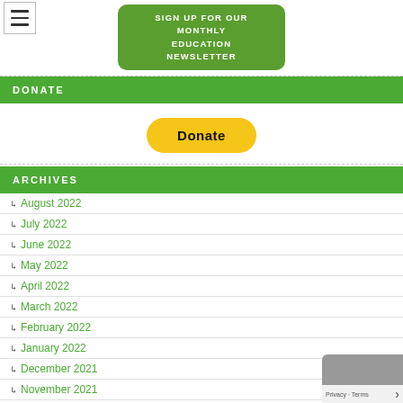[Figure (other): Green rounded rectangle button with text SIGN UP FOR OUR MONTHLY EDUCATION NEWSLETTER]
[Figure (other): Hamburger menu icon (three horizontal lines in a bordered box)]
DONATE
[Figure (other): PayPal Donate button - yellow rounded rectangle with bold text 'Donate']
ARCHIVES
August 2022
July 2022
June 2022
May 2022
April 2022
March 2022
February 2022
January 2022
December 2021
November 2021